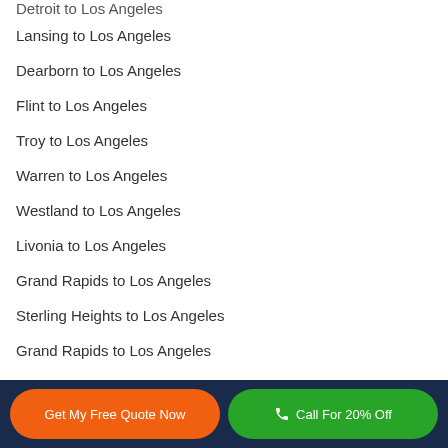Detroit to Los Angeles
Lansing to Los Angeles
Dearborn to Los Angeles
Flint to Los Angeles
Troy to Los Angeles
Warren to Los Angeles
Westland to Los Angeles
Livonia to Los Angeles
Grand Rapids to Los Angeles
Sterling Heights to Los Angeles
Grand Rapids to Los Angeles
Ann Arbor to Los Angeles
Farmington Hills to Los Angeles
Get My Free Quote Now | Call For 20% Off